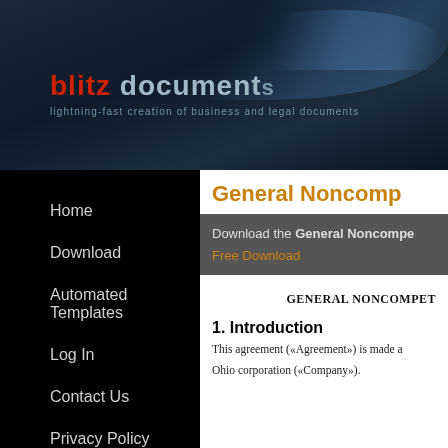[Figure (screenshot): Blitz Documents website header banner with dark blue gradient background and decorative light streaks]
blitz documents — lightning-fast creation of business and legal documents
Home
Download
Automated Templates
Log In
Contact Us
Privacy Policy
General Noncomp
Download the General Noncompe
Free Download
GENERAL NONCOMPET
1. Introduction
This agreement («Agreement») is made a
Ohio corporation («Company»).